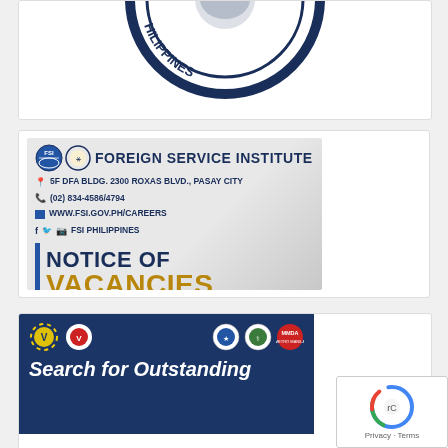[Figure (logo): Partial Philippine government seal (blue circular seal, partially cropped at top)]
[Figure (infographic): Foreign Service Institute Notice of Vacancies banner. Shows FSI and Philippine government logos, address: 5F DFA BLDG. 2300 ROXAS BLVD., PASAY CITY, phone: (02) 834-4586/4794, website: WWW.FSI.GOV.PH/CAREERS, social media: FSI PHILIPPINES. Large text reads NOTICE OF VACANCIES with a blue vertical bar accent.]
[Figure (infographic): Search for Outstanding banner on dark blue background with organization logos (MMDA and others). Text reads 'Search for Outstanding' in white italic bold letters, partially cropped at bottom.]